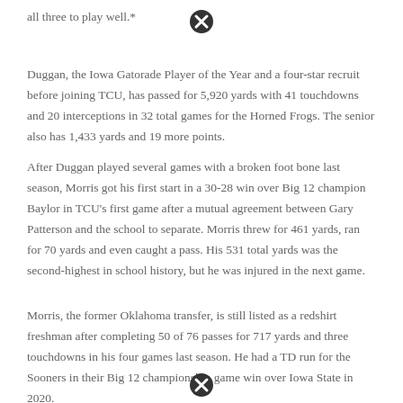all three to play well.*
Duggan, the Iowa Gatorade Player of the Year and a four-star recruit before joining TCU, has passed for 5,920 yards with 41 touchdowns and 20 interceptions in 32 total games for the Horned Frogs. The senior also has 1,433 yards and 19 more points.
After Duggan played several games with a broken foot bone last season, Morris got his first start in a 30-28 win over Big 12 champion Baylor in TCU's first game after a mutual agreement between Gary Patterson and the school to separate. Morris threw for 461 yards, ran for 70 yards and even caught a pass. His 531 total yards was the second-highest in school history, but he was injured in the next game.
Morris, the former Oklahoma transfer, is still listed as a redshirt freshman after completing 50 of 76 passes for 717 yards and three touchdowns in his four games last season. He had a TD run for the Sooners in their Big 12 championship game win over Iowa State in 2020.